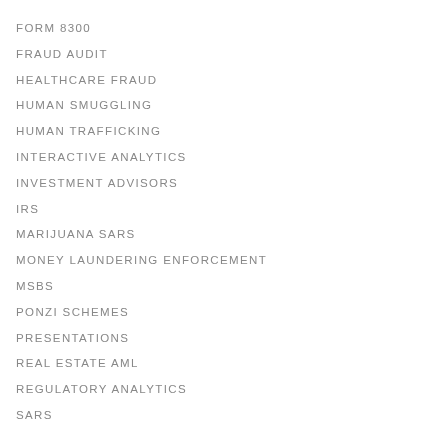FORM 8300
FRAUD AUDIT
HEALTHCARE FRAUD
HUMAN SMUGGLING
HUMAN TRAFFICKING
INTERACTIVE ANALYTICS
INVESTMENT ADVISORS
IRS
MARIJUANA SARS
MONEY LAUNDERING ENFORCEMENT
MSBS
PONZI SCHEMES
PRESENTATIONS
REAL ESTATE AML
REGULATORY ANALYTICS
SARS